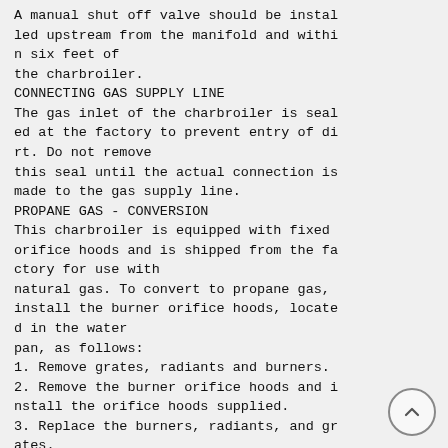A manual shut off valve should be installed upstream from the manifold and within six feet of
the charbroiler.
CONNECTING GAS SUPPLY LINE
The gas inlet of the charbroiler is sealed at the factory to prevent entry of dirt. Do not remove
this seal until the actual connection is
made to the gas supply line.
PROPANE GAS - CONVERSION
This charbroiler is equipped with fixed orifice hoods and is shipped from the factory for use with
natural gas. To convert to propane gas,
install the burner orifice hoods, located in the water
pan, as follows:
1. Remove grates, radiants and burners.
2. Remove the burner orifice hoods and install the orifice hoods supplied.
3. Replace the burners, radiants, and grates.
4. Set manifold pressure to (10) inch water column. A 1/8" pipe plug on the burn